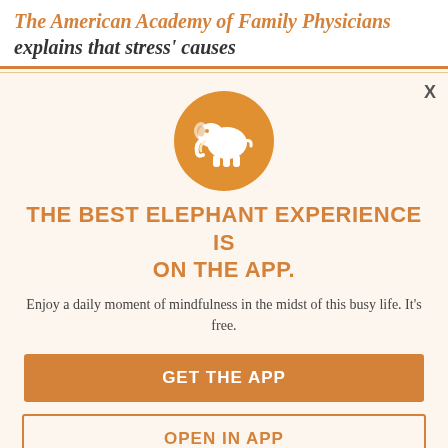The American Academy of Family Physicians explains that stress' causes
[Figure (screenshot): Modal popup overlay for the Elephant mindfulness app. Contains an orange elephant logo circle, bold orange title text, subtitle text, and two call-to-action buttons.]
THE BEST ELEPHANT EXPERIENCE IS ON THE APP.
Enjoy a daily moment of mindfulness in the midst of this busy life. It's free.
GET THE APP
OPEN IN APP